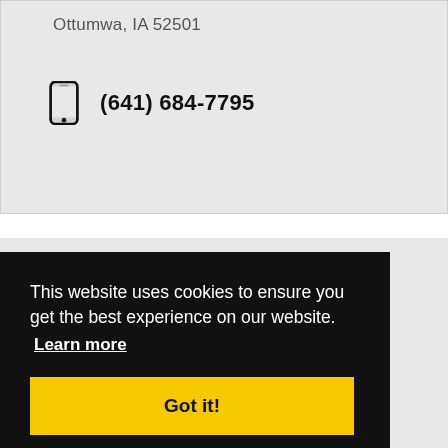Ottumwa, IA 52501
(641) 684-7795
This website uses cookies to ensure you get the best experience on our website.
Learn more
Got it!